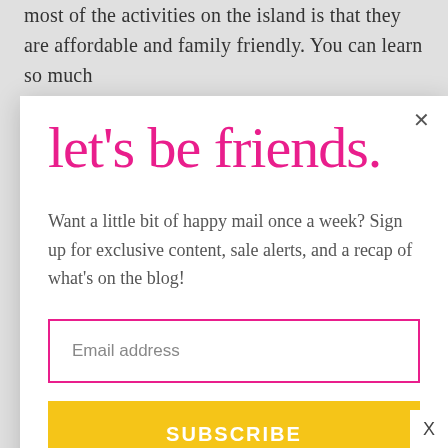most of the activities on the island is that they are affordable and family friendly. You can learn so much
[Figure (screenshot): Email subscription modal popup with 'let's be friends.' handwritten heading in pink, body text about happy mail signup, pink-bordered email input field, and yellow SUBSCRIBE button on white background with close X button]
let's be friends.
Want a little bit of happy mail once a week? Sign up for exclusive content, sale alerts, and a recap of what's on the blog!
Email address
SUBSCRIBE